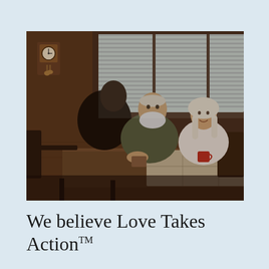[Figure (photo): Three people sitting around a kitchen table in a warm wood-paneled room with venetian blinds on windows. A cuckoo clock is visible on the left wall. An older bearded man in the center faces the camera, a person with dark hair sits with their back to the camera on the left, and a woman with blonde/white hair sits on the right. They appear to be having a conversation over coffee/drinks.]
We believe Love Takes Action™